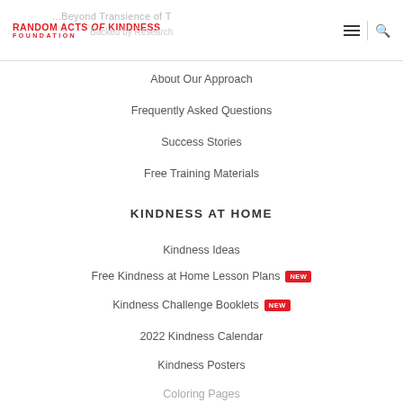RANDOM ACTS OF KINDNESS FOUNDATION
About Our Approach
Frequently Asked Questions
Success Stories
Free Training Materials
KINDNESS AT HOME
Kindness Ideas
Free Kindness at Home Lesson Plans NEW
Kindness Challenge Booklets NEW
2022 Kindness Calendar
Kindness Posters
Coloring Pages